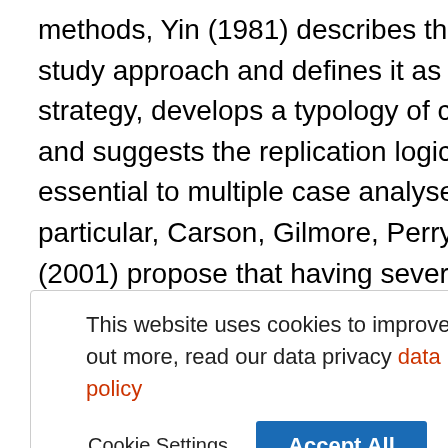methods, Yin (1981) describes the design of case study approach and defines it as a research strategy, develops a typology of case study design, and suggests the replication logic, which are essential to multiple case analyses (Fig. 1). In particular, Carson, Gilmore, Perry, and Gronhaug (2001) propose that having several cases allow the extra dimension
This website uses cookies to improve your experience. To find out more, read our data privacy data protection and cookie policy
matching logic, and analytic